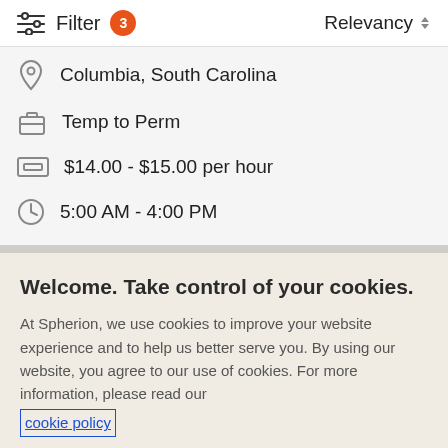Filter 3   Relevancy
Columbia, South Carolina
Temp to Perm
$14.00 - $15.00 per hour
5:00 AM - 4:00 PM
Welcome. Take control of your cookies.
At Spherion, we use cookies to improve your website experience and to help us better serve you. By using our website, you agree to our use of cookies. For more information, please read our cookie policy
Cookies Settings   Accept Cookies